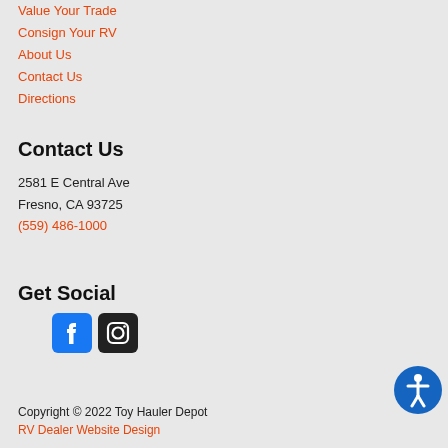Value Your Trade
Consign Your RV
About Us
Contact Us
Directions
Contact Us
2581 E Central Ave
Fresno, CA 93725
(559) 486-1000
Get Social
[Figure (logo): Facebook and Instagram social media icons]
[Figure (logo): Accessibility icon - blue circle with white person figure]
Copyright © 2022 Toy Hauler Depot
RV Dealer Website Design